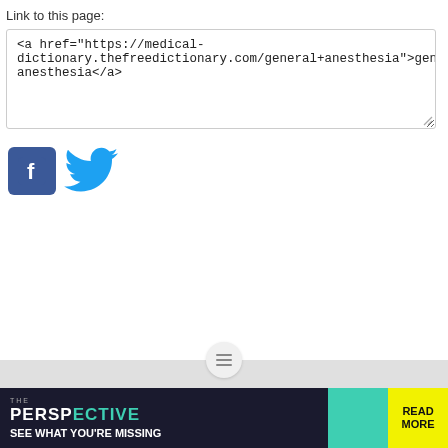Link to this page:
<a href="https://medical-dictionary.thefreedictionary.com/general+anesthesia">general anesthesia</a>
[Figure (illustration): Facebook and Twitter social sharing icons]
[Figure (infographic): Advertisement banner: THE PERSPECTIVE - SEE WHAT YOU'RE MISSING - READ MORE]